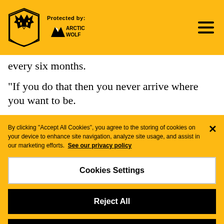Protected by: ARCTIC WOLF
every six months.
“If you do that then you never arrive where you want to be.
“We have to create a group which are strong, compact and have a nice mentality of not wanting to stay in the comfo
By clicking “Accept All Cookies”, you agree to the storing of cookies on your device to enhance site navigation, analyze site usage, and assist in our marketing efforts. See our privacy policy
Cookies Settings
Reject All
Accept All Cookies